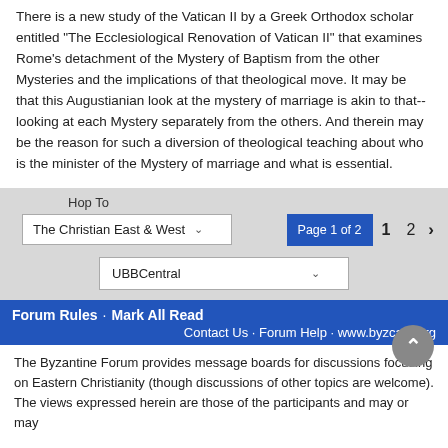There is a new study of the Vatican II by a Greek Orthodox scholar entitled "The Ecclesiological Renovation of Vatican II" that examines Rome's detachment of the Mystery of Baptism from the other Mysteries and the implications of that theological move. It may be that this Augustianian look at the mystery of marriage is akin to that--looking at each Mystery separately from the others. And therein may be the reason for such a diversion of theological teaching about who is the minister of the Mystery of marriage and what is essential.
Hop To
The Christian East & West
Page 1 of 2
1  2  ›
UBBCentral
Forum Rules · Mark All Read
Contact Us · Forum Help · www.byzcath.org
The Byzantine Forum provides message boards for discussions focusing on Eastern Christianity (though discussions of other topics are welcome). The views expressed herein are those of the participants and may or may